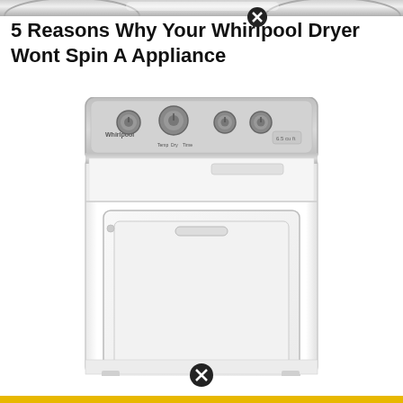[Figure (photo): Partial top photo strip showing close-up of washing machine or dryer drum, silver/chrome metallic appearance]
5 Reasons Why Your Whirlpool Dryer Wont Spin A Appliance
[Figure (photo): Whirlpool top-load dryer in white color with gray control panel showing multiple knobs and controls, front door with handle visible]